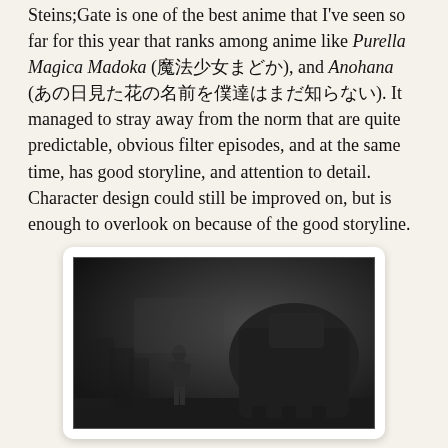Steins;Gate is one of the best anime that I've seen so far for this year that ranks among anime like Purella Magica Madoka (魔法少女まどか), and Anohana (あの日見た花の名前を僕達はまだ知らない). It managed to stray away from the norm that are quite predictable, obvious filter episodes, and at the same time, has good storyline, and attention to detail. Character design could still be improved on, but is enough to overlook on because of the good storyline.
[Figure (photo): Dark anime screenshot showing a silhouette of a character standing near a large dark structure or machine, outdoors at night or dusk, monochrome/dark tones.]
With regards to the paragraph at the very top of this post, I had to say it because phrases such as "since it can't change places while time machine, this time machine remained at the same spot" would conflict with a newer, taller, building in